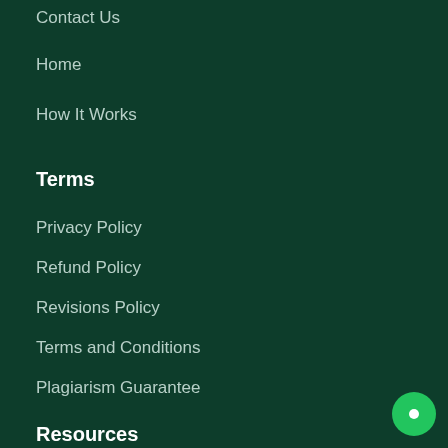Contact Us
Home
How It Works
Terms
Privacy Policy
Refund Policy
Revisions Policy
Terms and Conditions
Plagiarism Guarantee
Resources
APA Reference Generator (6th Ed)